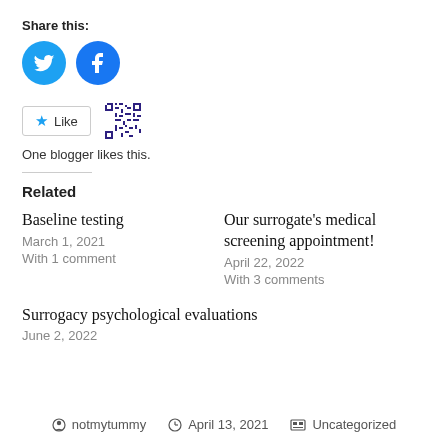Share this:
[Figure (other): Social sharing icons: Twitter (blue circle with bird) and Facebook (blue circle with f)]
[Figure (other): Like button with star icon and QR code style avatar next to it]
One blogger likes this.
Related
Baseline testing
March 1, 2021
With 1 comment
Our surrogate's medical screening appointment!
April 22, 2022
With 3 comments
Surrogacy psychological evaluations
June 2, 2022
notmytummy   April 13, 2021   Uncategorized